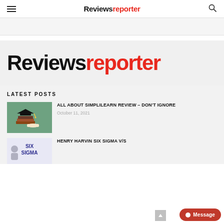Reviewsreporter
[Figure (screenshot): Ad banner placeholder]
[Figure (logo): Reviewsreporter logo — large display version on gray background]
LATEST POSTS
[Figure (photo): Graduation cap on books with diploma]
ALL ABOUT SIMPLILEARN REVIEW – DON'T IGNORE
October 11, 2021
[Figure (screenshot): Six Sigma graphic with person]
HENRY HARVIN SIX SIGMA V/S